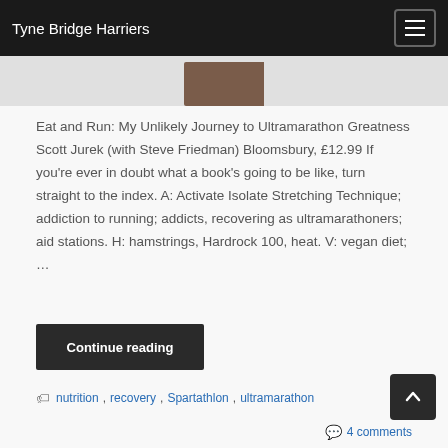Tyne Bridge Harriers
[Figure (photo): Partial view of a book cover, cropped at top of content area]
Eat and Run: My Unlikely Journey to Ultramarathon Greatness Scott Jurek (with Steve Friedman) Bloomsbury, £12.99 If you're ever in doubt what a book's going to be like, turn straight to the index. A: Activate Isolate Stretching Technique; addiction to running; addicts, recovering as ultramarathoners; aid stations. H: hamstrings, Hardrock 100, heat. V: vegan diet; …
Continue reading
nutrition, recovery, Spartathlon, ultramarathon
4 comments